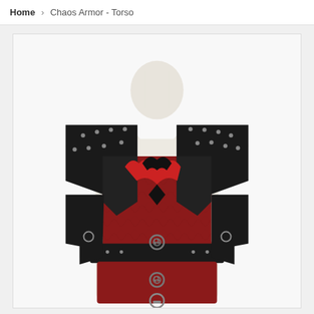Home > Chaos Armor - Torso
[Figure (photo): A mannequin torso wearing the Chaos Armor - Torso piece. The armor features black leather pauldrons and trim with dark red/crimson textured leather body panels. Decorative rivets and metal hardware including ring clasps and triskele buckles adorn the armor. The mannequin wears a white undershirt beneath.]